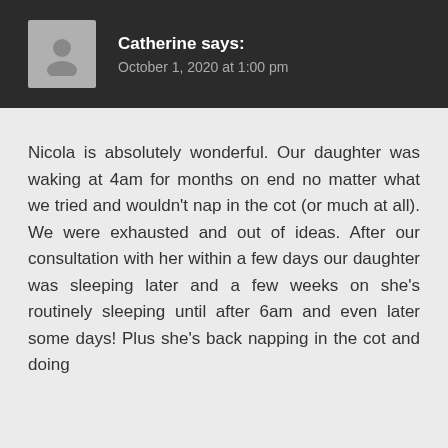Catherine says:
October 1, 2020 at 1:00 pm
Nicola is absolutely wonderful. Our daughter was waking at 4am for months on end no matter what we tried and wouldn't nap in the cot (or much at all). We were exhausted and out of ideas. After our consultation with her within a few days our daughter was sleeping later and a few weeks on she's routinely sleeping until after 6am and even later some days! Plus she's back napping in the cot and doing